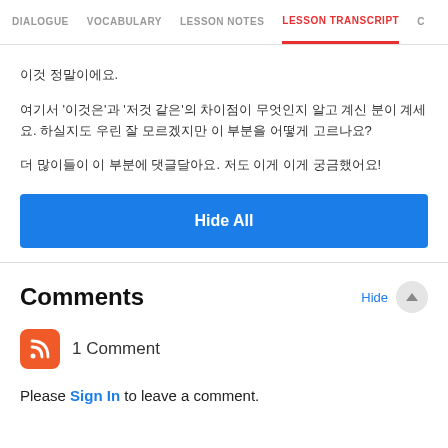DIALOGUE  VOCABULARY  LESSON NOTES  LESSON TRANSCRIPT  C
이것 정말이에요.
여기서 '이것은'과 '저것 같은'의 차이점이 무엇인지 알고 계신 분이 계세요. 하실지도 우린 잘 모르겠지만 이 부분을 어떻게 고르나요?
더 많이들이 이 부분에 댓글달아요. 저도 이게 이게 궁금했어요!
Hide All
Comments
1 Comment
Please Sign In to leave a comment.